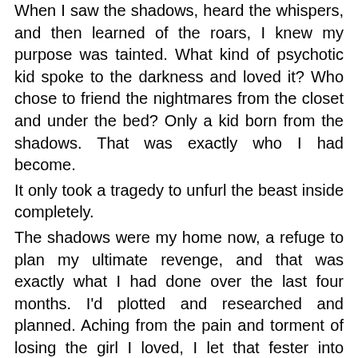When I saw the shadows, heard the whispers, and then learned of the roars, I knew my purpose was tainted. What kind of psychotic kid spoke to the darkness and loved it? Who chose to friend the nightmares from the closet and under the bed? Only a kid born from the shadows. That was exactly who I had become.
It only took a tragedy to unfurl the beast inside completely.
The shadows were my home now, a refuge to plan my ultimate revenge, and that was exactly what I had done over the last four months. I'd plotted and researched and planned. Aching from the pain and torment of losing the girl I loved, I let that fester into something wild and deadly. Now that my contact and I had met several times and exchanged critical Intel, I was ready to strike.
Oh, they would never see me coming. They had no idea.
From shadow, I was born, and from shadow, I would